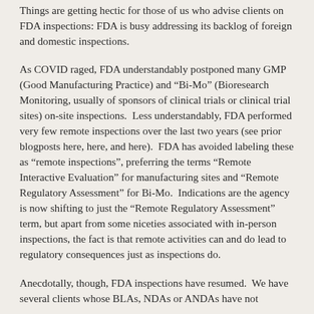Things are getting hectic for those of us who advise clients on FDA inspections: FDA is busy addressing its backlog of foreign and domestic inspections.
As COVID raged, FDA understandably postponed many GMP (Good Manufacturing Practice) and "Bi-Mo" (Bioresearch Monitoring, usually of sponsors of clinical trials or clinical trial sites) on-site inspections.  Less understandably, FDA performed very few remote inspections over the last two years (see prior blogposts here, here, and here).  FDA has avoided labeling these as "remote inspections", preferring the terms "Remote Interactive Evaluation" for manufacturing sites and "Remote Regulatory Assessment" for Bi-Mo.  Indications are the agency is now shifting to just the "Remote Regulatory Assessment" term, but apart from some niceties associated with in-person inspections, the fact is that remote activities can and do lead to regulatory consequences just as inspections do.
Anecdotally, though, FDA inspections have resumed.  We have several clients whose BLAs, NDAs or ANDAs have not